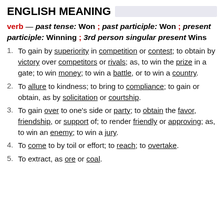ENGLISH MEANING
verb — past tense: Won ; past participle: Won ; present participle: Winning ; 3rd person singular present Wins
To gain by superiority in competition or contest; to obtain by victory over competitors or rivals; as, to win the prize in a gate; to win money; to win a battle, or to win a country.
To allure to kindness; to bring to compliance; to gain or obtain, as by solicitation or courtship.
To gain over to one's side or party; to obtain the favor, friendship, or support of; to render friendly or approving; as, to win an enemy; to win a jury.
To come to by toil or effort; to reach; to overtake.
To extract, as ore or coal.